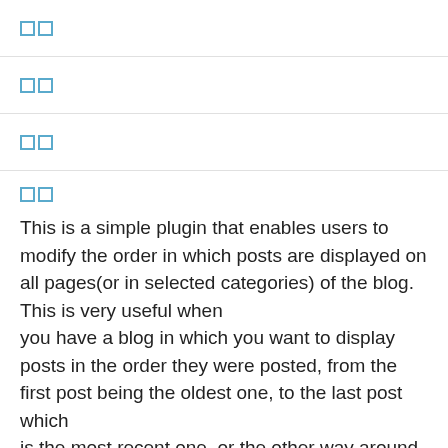□□
□□
□□
□□
This is a simple plugin that enables users to modify the order in which posts are displayed on all pages(or in selected categories) of the blog. This is very useful when you have a blog in which you want to display posts in the order they were posted, from the first post being the oldest one, to the last post which is the most recent one, or the other way around. The options provided with the plugin at this moment allow users to order the displayed posts by post